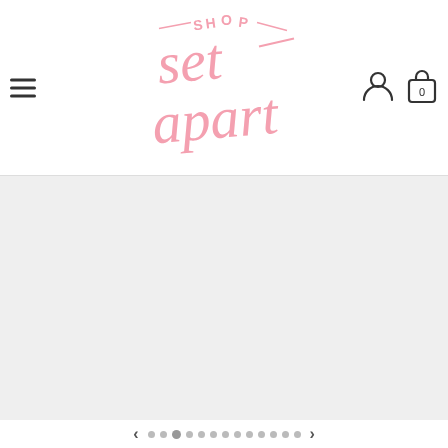[Figure (logo): Shop Set Apart logo in pink script/handwritten style lettering with 'SHOP' in smaller curved text at top and 'set apart' in large flowing script below]
[Figure (screenshot): Product image area showing a light gray/white background product photo placeholder]
[Figure (infographic): Navigation dots row at bottom with left and right arrows, showing multiple circular dot indicators with one active/selected dot]